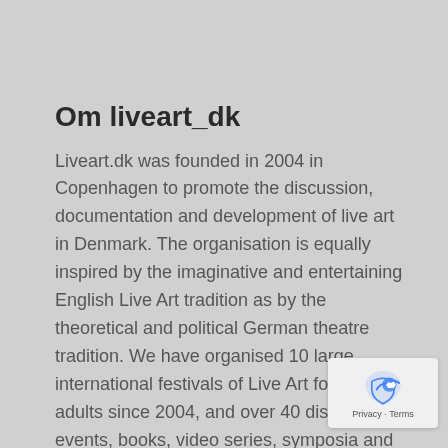Om liveart_dk
Liveart.dk was founded in 2004 in Copenhagen to promote the discussion, documentation and development of live art in Denmark. The organisation is equally inspired by the imaginative and entertaining English Live Art tradition as by the theoretical and political German theatre tradition. We have organised 10 large international festivals of Live Art for kids and adults since 2004, and over 40 discussion events, books, video series, symposia and more in the field of live performance art, art criticism and documentation. We collaborate with